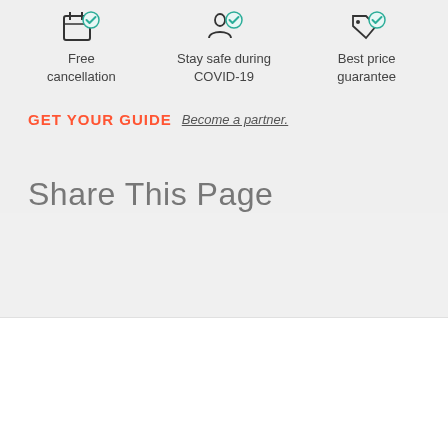Free cancellation
Stay safe during COVID-19
Best price guarantee
[Figure (logo): GET YOUR GUIDE logo in orange/red with text 'Become a partner.' link next to it]
Share This Page